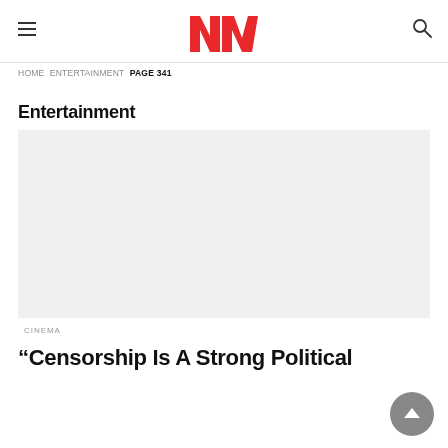MW logo with hamburger menu and search icon
HOME ENTERTAINMENT PAGE 341
Entertainment
[Figure (photo): Light grey image placeholder rectangle]
CINEMA
“Censorship Is A Strong Political